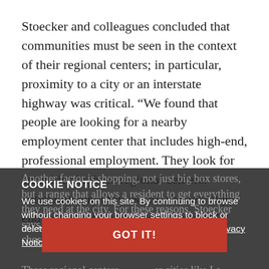Stoecker and colleagues concluded that communities must be seen in the context of their regional centers; in particular, proximity to a city or an interstate highway was critical. “We found that people are looking for a nearby employment center that includes high-end, professional employment. They look for amenities in these regional centers: entertainment, movies, art, theater, high-end restaurants, and spectator sports.”
Another factor is shopping, not just big box stores, but a range that allows a resident to get everything they need at the city. For these reasons, Stoecker says, it is not surprising that these communities chose to close-have driven to the city to the best...
COOKIE NOTICE
We use cookies on this site. By continuing to browse without changing your browser settings to block or delete cookies, you agree to the UW–Madison Privacy Notice.
These regional centers... er cities like La Crosse and Eau Claire, but also major metro areas like